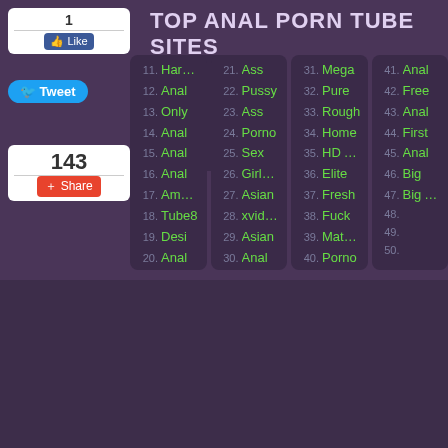TOP ANAL PORN TUBE SITES
11. Hardcore
12. Anal
13. Only
14. Anal
15. Anal
16. Anal
17. Amateur
18. Tube8
19. Desi
20. Anal
21. Ass
22. Pussy
23. Ass
24. Porno
25. Sex
26. Girls Do
27. Asian
28. xvids.biz
29. Asian
30. Anal
31. Mega
32. Pure
33. Rough
34. Home
35. HD Anal
36. Elite
37. Fresh
38. Fuck
39. Mature
40. Porno
41. Anal
42. Free
43. Anal
44. First
45. Anal
46. Big
47. Big Ass
48.
49.
50.